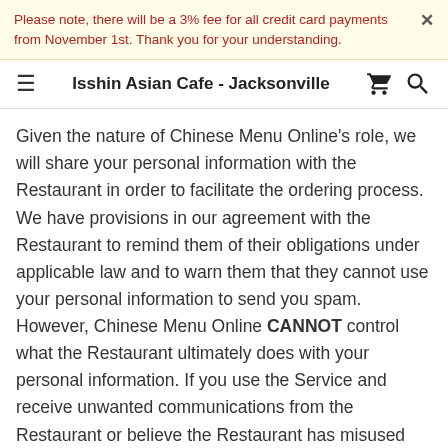Please note, there will be a 3% fee for all credit card payments from November 1st. Thank you for your understanding.
Isshin Asian Cafe - Jacksonville
Given the nature of Chinese Menu Online's role, we will share your personal information with the Restaurant in order to facilitate the ordering process. We have provisions in our agreement with the Restaurant to remind them of their obligations under applicable law and to warn them that they cannot use your personal information to send you spam. However, Chinese Menu Online CANNOT control what the Restaurant ultimately does with your personal information. If you use the Service and receive unwanted communications from the Restaurant or believe the Restaurant has misused your personal information, you must contact the Restaurant directly.